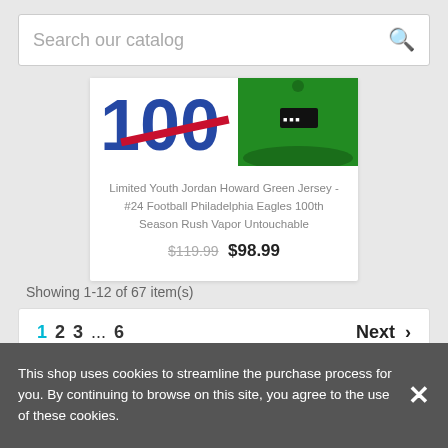Search our catalog
[Figure (photo): Partial product image showing Philadelphia Eagles jersey and green cap with logo]
Limited Youth Jordan Howard Green Jersey - #24 Football Philadelphia Eagles 100th Season Rush Vapor Untouchable
$119.99 $98.99
Showing 1-12 of 67 item(s)
1  2  3  ...  6  Next >
This shop uses cookies to streamline the purchase process for you. By continuing to browse on this site, you agree to the use of these cookies.